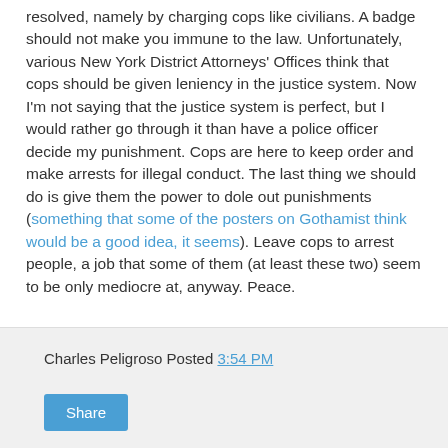resolved, namely by charging cops like civilians. A badge should not make you immune to the law. Unfortunately, various New York District Attorneys' Offices think that cops should be given leniency in the justice system. Now I'm not saying that the justice system is perfect, but I would rather go through it than have a police officer decide my punishment. Cops are here to keep order and make arrests for illegal conduct. The last thing we should do is give them the power to dole out punishments (something that some of the posters on Gothamist think would be a good idea, it seems). Leave cops to arrest people, a job that some of them (at least these two) seem to be only mediocre at, anyway. Peace.
Photos - Top: 120th Precinct Stationhouse (wallyg's flickr), Bottom: 120th Precinct's commander, Inspector Richard Bruno (www.nyc.gov)
Charles Peligroso Posted 3:54 PM